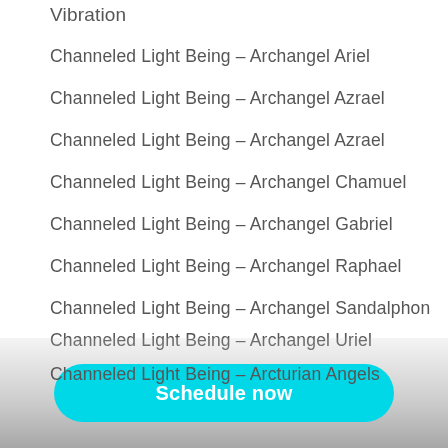Vibration
Channeled Light Being – Archangel Ariel
Channeled Light Being – Archangel Azrael
Channeled Light Being – Archangel Azrael
Channeled Light Being – Archangel Chamuel
Channeled Light Being – Archangel Gabriel
Channeled Light Being – Archangel Raphael
Channeled Light Being – Archangel Sandalphon
Channeled Light Being – Archangel Uriel
Channeled Light Being – Arcturian Angels
Channeled Light Being – Arcturians
Schedule now